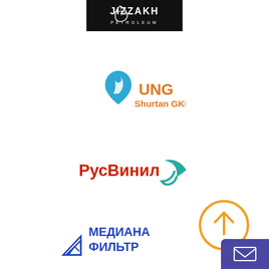[Figure (logo): Jizzakh Petroleum logo — black background rectangle with white leaf/wave icon above bold white text JIZZAKH and smaller spaced text PETROLEUM]
[Figure (logo): UNG Shurtan GKM logo — blue water-drop with flame shape icon, orange bold text UNG, orange text Shurtan GKM below]
[Figure (logo): RusVinil logo — red Cyrillic text РусВинил with teal crescent arc swirl to the right]
[Figure (logo): Медиана Фильтр logo — blue triangle/mountain/filter icon on left, blue bold Cyrillic text МЕДИАНА ФИЛЬТР on right]
[Figure (other): Orange outlined circle with upward arrow inside — scroll-to-top UI button]